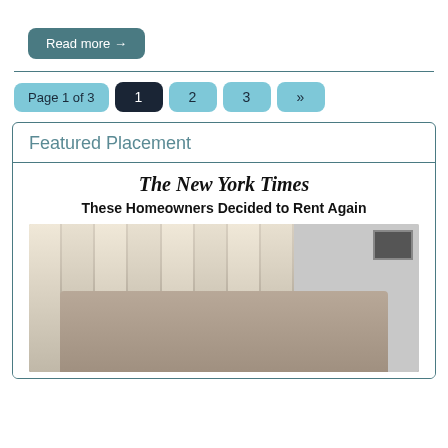Read more →
Page 1 of 3  1  2  3  »
Featured Placement
The New York Times
These Homeowners Decided to Rent Again
[Figure (photo): Photo of two people in a modern interior space with vertical paneling and a framed picture on the wall]